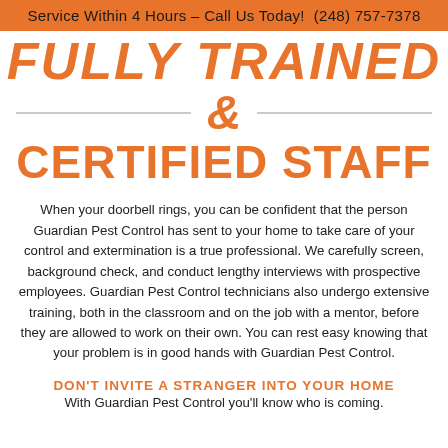Service Within 4 Hours – Call Us Today!  (248) 757-7378
FULLY TRAINED & CERTIFIED STAFF
When your doorbell rings, you can be confident that the person Guardian Pest Control has sent to your home to take care of your control and extermination is a true professional. We carefully screen, background check, and conduct lengthy interviews with prospective employees. Guardian Pest Control technicians also undergo extensive training, both in the classroom and on the job with a mentor, before they are allowed to work on their own. You can rest easy knowing that your problem is in good hands with Guardian Pest Control.
DON'T INVITE A STRANGER INTO YOUR HOME
With Guardian Pest Control you'll know who is coming.